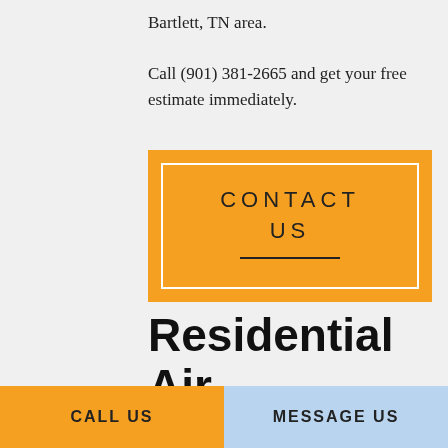Bartlett, TN area.

Call (901) 381-2665 and get your free estimate immediately.
[Figure (other): Orange button with white inner border reading CONTACT US with a horizontal underline beneath, on an orange background]
Residential Air Conditioning
CALL US
MESSAGE US